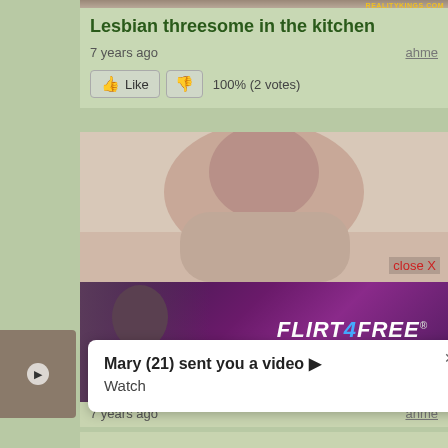Lesbian threesome in the kitchen
7 years ago
ahme
Like   100% (2 votes)
[Figure (photo): Video thumbnail - person with brown hair]
close X
[Figure (photo): Flirt4Free advertisement banner - LIVE. NUDE.]
7 years ago
ahme
[Figure (photo): Partially visible video thumbnail with play button]
Mary (21) sent you a video ▶ Watch